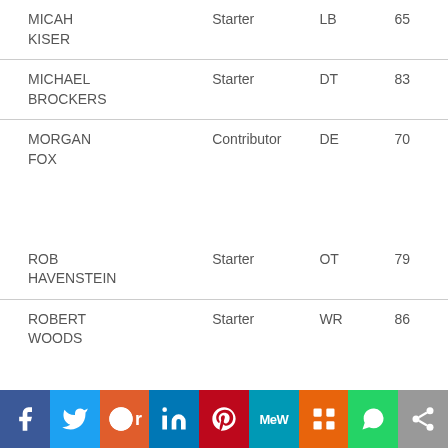| Name | Role | Position | Number |
| --- | --- | --- | --- |
| MICAH KISER | Starter | LB | 65 |
| MICHAEL BROCKERS | Starter | DT | 83 |
| MORGAN FOX | Contributor | DE | 70 |
| ROB HAVENSTEIN | Starter | OT | 79 |
| ROBERT WOODS | Starter | WR | 86 |
[Figure (infographic): Social media share buttons bar: Facebook, Twitter, Reddit, LinkedIn, Pinterest, MeWe, Mix, WhatsApp, Share]